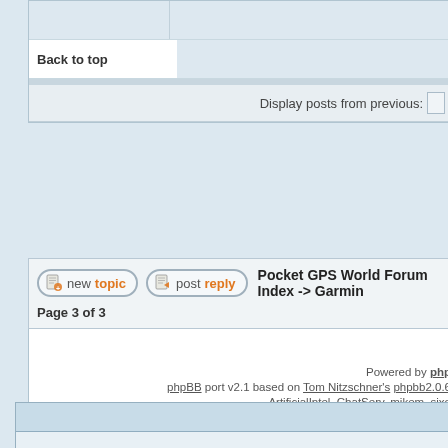Back to top
Display posts from previous:
[Figure (screenshot): New topic button with document icon]
[Figure (screenshot): Post reply button with document icon]
Pocket GPS World Forum Index -> Garmin
Page 3 of 3
Powered by phpBB port v2.1 based on Tom Nitzschner's phpbb2.0.6 ArtificialIntel, ChatServ, mikem, sixo Version 2.1 by Nuke Cop